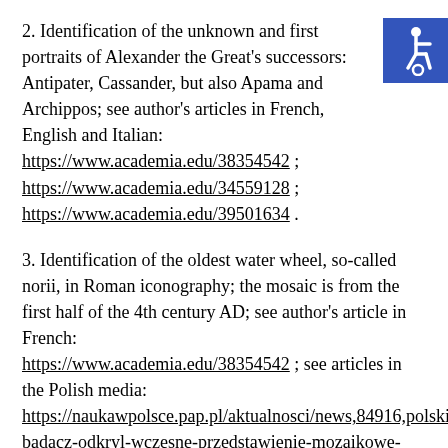2. Identification of the unknown and first portraits of Alexander the Great's successors: Antipater, Cassander, but also Apama and Archippos; see author's articles in French, English and Italian: https://www.academia.edu/38354542 ; https://www.academia.edu/34559128 ; https://www.academia.edu/39501634 .
[Figure (logo): Accessibility icon — white wheelchair symbol on blue square background]
3. Identification of the oldest water wheel, so-called norii, in Roman iconography; the mosaic is from the first half of the 4th century AD; see author's article in French: https://www.academia.edu/38354542 ; see articles in the Polish media: https://naukawpolsce.pap.pl/aktualnosci/news,84916,polski-badacz-odkryl-wczesne-przedstawienie-mozaikowe-rzymskiego-kola ; https://www.academia.edu/44721187 ;